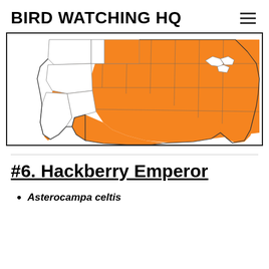BIRD WATCHING HQ
[Figure (map): Range map of the USA showing distribution of the Hackberry Emperor butterfly. Orange shading covers most of the eastern, central, and parts of the western United States, with white areas representing the far western states (California, Nevada, Oregon, Washington, Idaho, Montana, Wyoming, Utah, Colorado) where the species is largely absent.]
#6. Hackberry Emperor
Asterocampa celtis